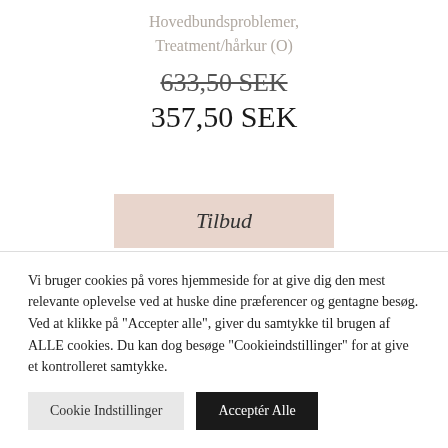Hovedbundsproblemer, Treatment/hårkur (O)
633,50 SEK (strikethrough) 357,50 SEK
Tilbud
Vi bruger cookies på vores hjemmeside for at give dig den mest relevante oplevelse ved at huske dine præferencer og gentagne besøg. Ved at klikke på "Accepter alle", giver du samtykke til brugen af ALLE cookies. Du kan dog besøge "Cookieindstillinger" for at give et kontrolleret samtykke.
Cookie Indstillinger
Acceptér Alle